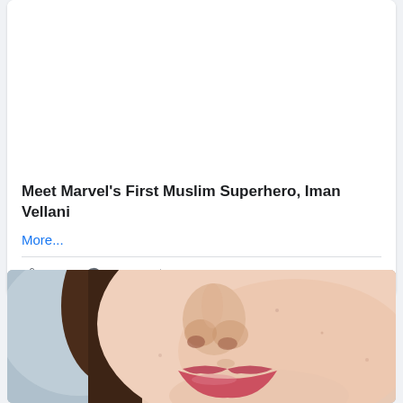Meet Marvel's First Muslim Superhero, Iman Vellani
More...
👍 611  💬 153  ➤ 204
[Figure (photo): Close-up portrait photo of a young woman's face (nose and lips visible), with light skin and red lipstick, blurred blue-gray background]